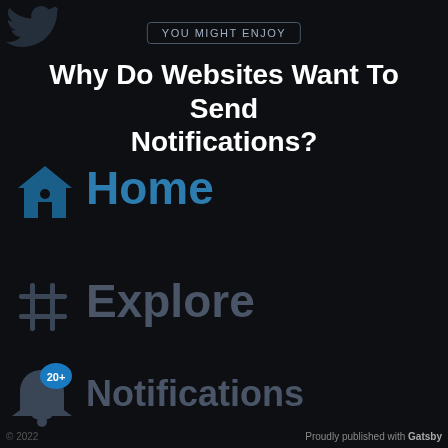[Figure (screenshot): Twitter bird logo icon in top-left corner, dark/grey color]
YOU MIGHT ENJOY
Why Do Websites Want To Send Notifications?
[Figure (illustration): Blue house/home icon for Twitter Home navigation]
Home
[Figure (illustration): Hash/pound symbol icon for Twitter Explore navigation]
Explore
[Figure (illustration): Notification bell icon with blue badge showing 20+]
Notifications
© 2022
Proudly published with Gatsby